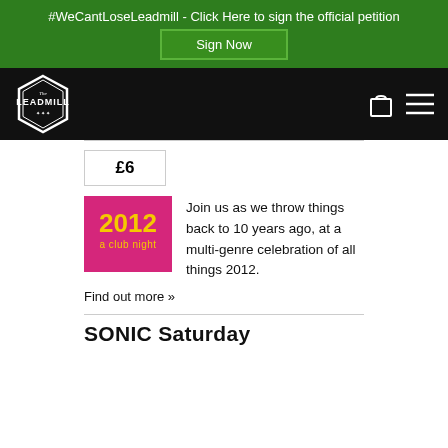#WeCantLoseLeadmill - Click Here to sign the official petition
[Figure (logo): Sign Now button in green banner]
[Figure (logo): The Leadmill hexagonal logo on black navigation bar with shopping bag and hamburger menu icons]
£6
[Figure (illustration): 2012 a club night pink/magenta rectangular event image with bold yellow text]
Join us as we throw things back to 10 years ago, at a multi-genre celebration of all things 2012.
Find out more »
SONIC Saturday